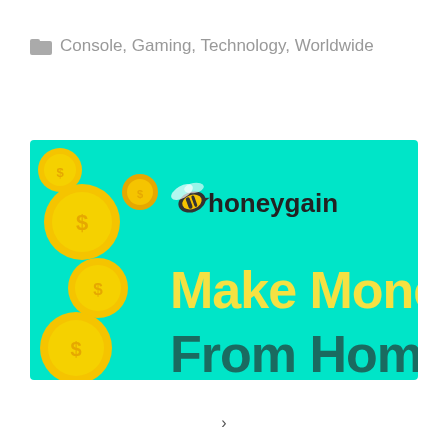Console, Gaming, Technology, Worldwide
[Figure (illustration): Honeygain promotional banner with teal background, gold coins on the left side, honeygain logo with bee icon at top center, yellow bold text 'Make Money' and dark teal text 'From Home' below.]